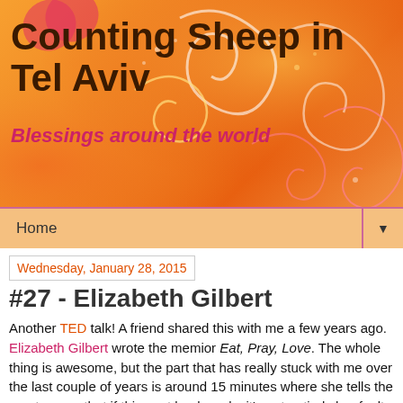[Figure (illustration): Orange gradient decorative header banner with swirl patterns in yellow, white, pink and red tones]
Counting Sheep in Tel Aviv
Blessings around the world
Home
Wednesday, January 28, 2015
#27 - Elizabeth Gilbert
Another TED talk!  A friend shared this with me a few years ago.  Elizabeth Gilbert wrote the memior Eat, Pray, Love.  The whole thing is awesome, but the part that has really stuck with me over the last couple of years is around 15 minutes where she tells the empty room that if this next book sucks it's not entirely her fault; furthermore  "Let the record reflect that I showed up for my part of the job."  She also talks about the "Divine Cockeyed Genius Assigned to Your Case"--a phrase for God I am borrowing.